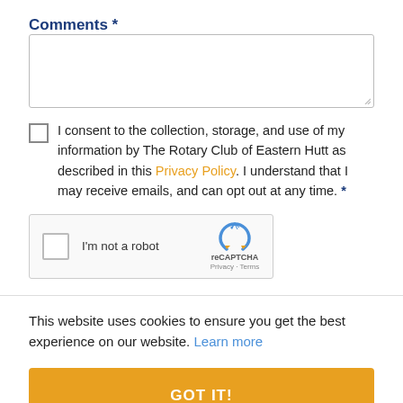Comments *
[Figure (other): Text area input box for comments]
I consent to the collection, storage, and use of my information by The Rotary Club of Eastern Hutt as described in this Privacy Policy. I understand that I may receive emails, and can opt out at any time. *
[Figure (other): reCAPTCHA widget with checkbox and I'm not a robot label]
This website uses cookies to ensure you get the best experience on our website. Learn more
GOT IT!